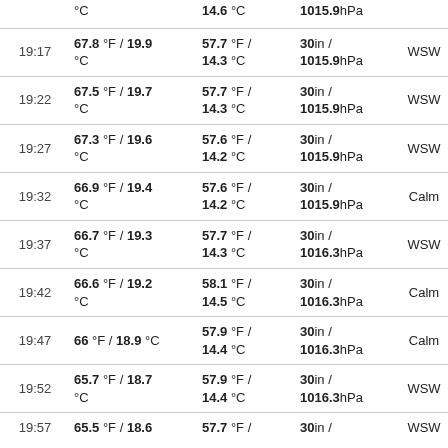| Time | Temp | Dew Point | Pressure | Wind | Extra |
| --- | --- | --- | --- | --- | --- |
|  | °C | 14.6 °C | 1015.9hPa |  |  |
| 19:17 | 67.8 °F / 19.9 °C | 57.7 °F / 14.3 °C | 30in / 1015.9hPa | WSW | 2 |
| 19:22 | 67.5 °F / 19.7 °C | 57.7 °F / 14.3 °C | 30in / 1015.9hPa | WSW | 2 |
| 19:27 | 67.3 °F / 19.6 °C | 57.6 °F / 14.2 °C | 30in / 1015.9hPa | WSW | 2 |
| 19:32 | 66.9 °F / 19.4 °C | 57.6 °F / 14.2 °C | 30in / 1015.9hPa | Calm |  |
| 19:37 | 66.7 °F / 19.3 °C | 57.7 °F / 14.3 °C | 30in / 1016.3hPa | WSW | 0 |
| 19:42 | 66.6 °F / 19.2 °C | 58.1 °F / 14.5 °C | 30in / 1016.3hPa | Calm |  |
| 19:47 | 66 °F / 18.9 °C | 57.9 °F / 14.4 °C | 30in / 1016.3hPa | Calm |  |
| 19:52 | 65.7 °F / 18.7 °C | 57.9 °F / 14.4 °C | 30in / 1016.3hPa | WSW | 2 |
| 19:57 | 65.5 °F / 18.6 | 57.7 °F / | 30in / | WSW | 2 |